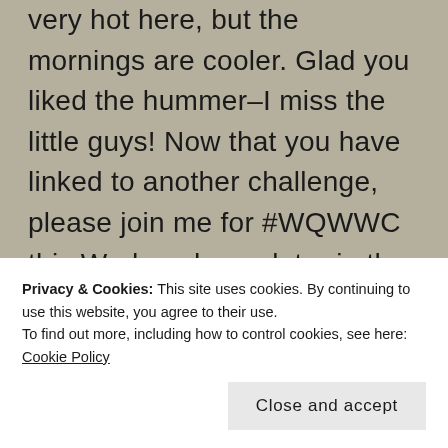very hot here, but the mornings are cooler. Glad you liked the hummer–I miss the little guys! Now that you have linked to another challenge, please join me for #WQWWC this Wednesday or later in the week with a tree quote 🙂
Privacy & Cookies: This site uses cookies. By continuing to use this website, you agree to their use.
To find out more, including how to control cookies, see here: Cookie Policy
Close and accept
Yes must be so tough to see